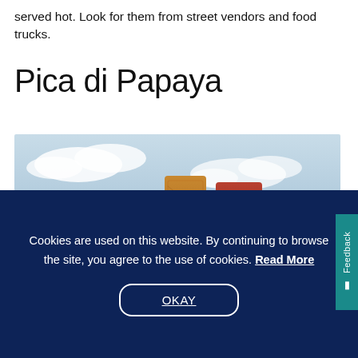served hot. Look for them from street vendors and food trucks.
Pica di Papaya
[Figure (photo): Three bottles of hot sauce/spicy condiment against a blue sky background]
Cookies are used on this website. By continuing to browse the site, you agree to the use of cookies. Read More
OKAY